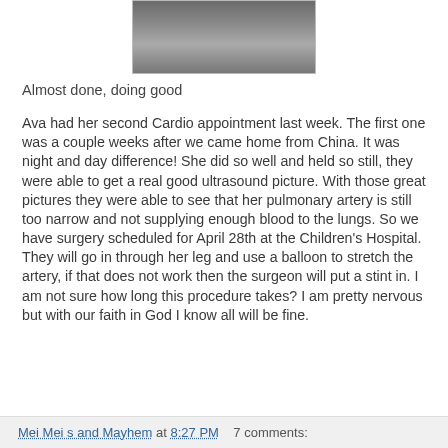[Figure (photo): Partial photo of a person, appears to be a child with medical equipment or accessories, cropped at top of page]
Almost done, doing good
Ava had her second Cardio appointment last week.  The first one was a couple weeks after we came home from China.  It was night and day difference!  She did so well and held so still, they were able to get a real good ultrasound picture.  With those great pictures they were able to see that her pulmonary artery is still too narrow and not supplying enough blood to the lungs.  So we have surgery scheduled for April 28th at the Children's Hospital.  They will go in through her leg and use a balloon to stretch the artery, if that does not work then the surgeon will put a stint in.  I am not sure how long this procedure takes?  I am pretty nervous but with our faith in God I know all will be fine.
Mei Mei s and Mayhem at 8:27 PM   7 comments: